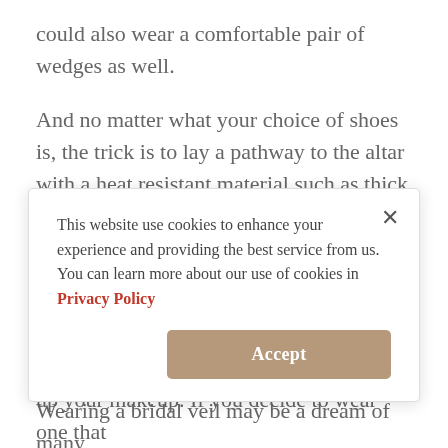could also wear a comfortable pair of wedges as well.
And no matter what your choice of shoes is, the trick is to lay a pathway to the altar with a heat resistant material such as thick cloths. It will help absorb the heat and you will be able to stand and walk on that sand without worry.
3. There Is No Need for the Bridal Veil
Wearing a bridal veil may be a dream of many
This website use cookies to enhance your experience and providing the best service from us. You can learn more about our use of cookies in Privacy Policy
up your makeup. If you decide to wear one that